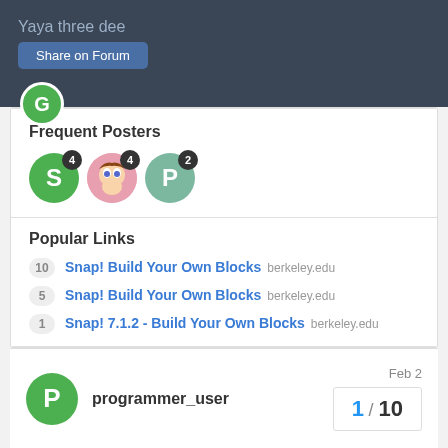Yaya three dee
Frequent Posters
[Figure (illustration): Three user avatar icons with post count badges: S (green, 4 posts), anime character (4 posts), P (green, 2 posts)]
Popular Links
10  Snap! Build Your Own Blocks  berkeley.edu
5  Snap! Build Your Own Blocks  berkeley.edu
1  Snap! 7.1.2 - Build Your Own Blocks  berkeley.edu
There are 9 replies with an estimated read time of 1 minute.
Summarize This Topic
programmer_user  Feb 2
1 / 10